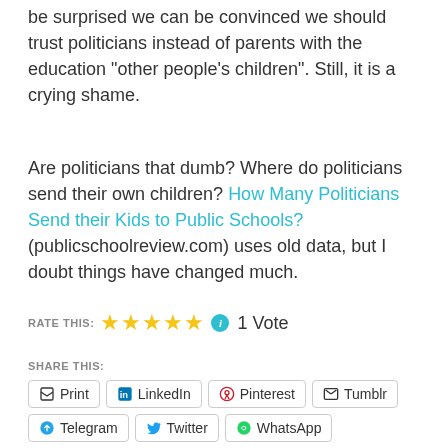be surprised we can be convinced we should trust politicians instead of parents with the education “other people’s children”. Still, it is a crying shame.
Are politicians that dumb? Where do politicians send their own children? How Many Politicians Send their Kids to Public Schools? (publicschoolreview.com) uses old data, but I doubt things have changed much.
RATE THIS: ★★★★★ ℹ 1 Vote
SHARE THIS:
Print
LinkedIn
Pinterest
Tumblr
Telegram
Twitter
WhatsApp
Facebook
Email
Skype
Pocket
Reddit